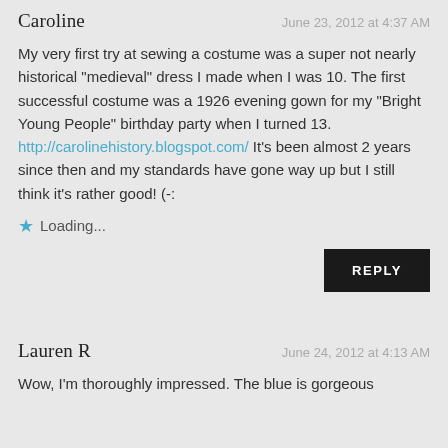Caroline
June 23, 2012 at 4:37 AM
My very first try at sewing a costume was a super not nearly historical "medieval" dress I made when I was 10. The first successful costume was a 1926 evening gown for my "Bright Young People" birthday party when I turned 13. http://carolinehistory.blogspot.com/ It's been almost 2 years since then and my standards have gone way up but I still think it's rather good! (-:
Loading...
REPLY
Lauren R
June 24, 2012 at 4:13 AM
Wow, I'm thoroughly impressed. The blue is gorgeous